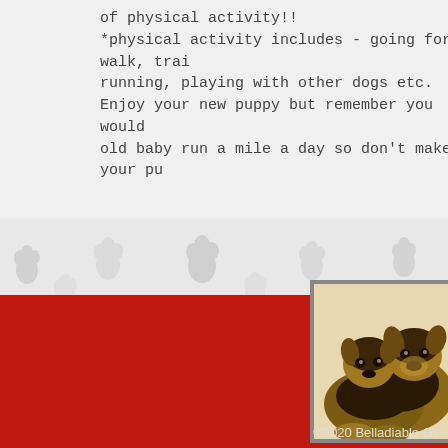of physical activity!!
*physical activity includes - going for a walk, training, running, playing with other dogs etc.
Enjoy your new puppy but remember you wouldn't make a 6 month old baby run a mile a day so don't make your pu...
[Figure (illustration): Decorative paw print pattern band dividing sections]
[Figure (photo): Two German Shepherd puppies lying together]
©2020 Belladiable Ge